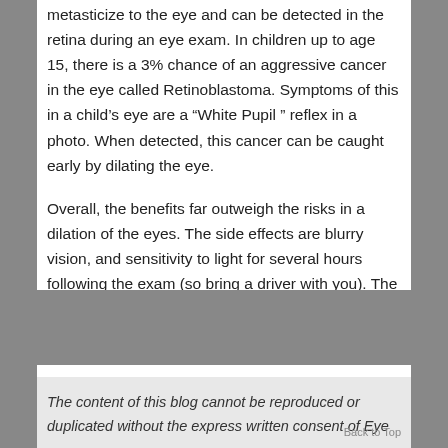metasticize to the eye and can be detected in the retina during an eye exam. In children up to age 15, there is a 3% chance of an aggressive cancer in the eye called Retinoblastoma. Symptoms of this in a child's eye are a "White Pupil " reflex in a photo. When detected, this cancer can be caught early by dilating the eye.
Overall, the benefits far outweigh the risks in a dilation of the eyes. The side effects are blurry vision, and sensitivity to light for several hours following the exam (so bring a driver with you). The benefits, however, could be larger than life!
The content of this blog cannot be reproduced or duplicated without the express written consent of Eye